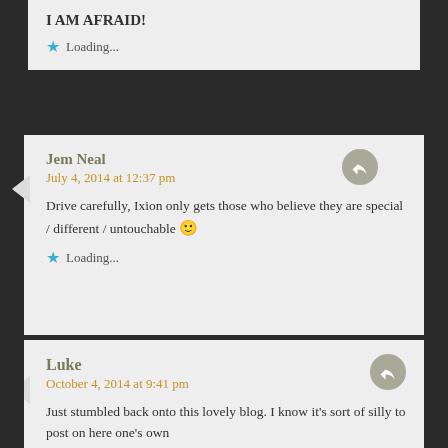I AM AFRAID!
★ Loading...
Jem Neal
July 4, 2014 at 12:37 pm
Drive carefully, Ixion only gets those who believe they are special / different / untouchable 🙂
★ Loading...
Luke
October 4, 2014 at 9:41 pm
Just stumbled back onto this lovely blog. I know it's sort of silly to post on here one's own